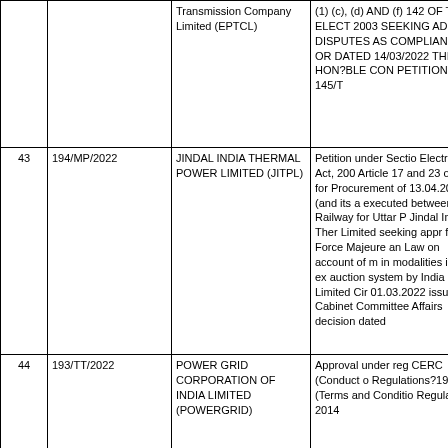| No. | Case No. | Petitioner | Subject |
| --- | --- | --- | --- |
|  |  | Transmission Company Limited (EPTCL) | (1) (c), (d) AND (f) 142 OF THE ELECT 2003 SEEKING AD OF DISPUTES AS COMPLIANCE OR DATED 14/03/2022 THIS HON?BLE CON PETITION NO. 145/T |
| 43 | 194/MP/2022 | JINDAL INDIA THERMAL POWER LIMITED (JITPL) | Petition under Sectio Electricity Act, 200 Article 17 and 23 of th for Procurement of 13.04.2016 (and its a executed between Railway for Uttar P Jindal India Ther Limited seeking appr for Force Majeure an Law on account of m in modalities in the ex auction system by India Limited Cir 01.03.2022 issued Cabinet Committee Affairs decision dated |
| 44 | 193/TT/2022 | POWER GRID CORPORATION OF INDIA LIMITED (POWERGRID) | Approval under reg CERC (Conduct o Regulations?1999 (Terms and Conditio Regulations 2014 |